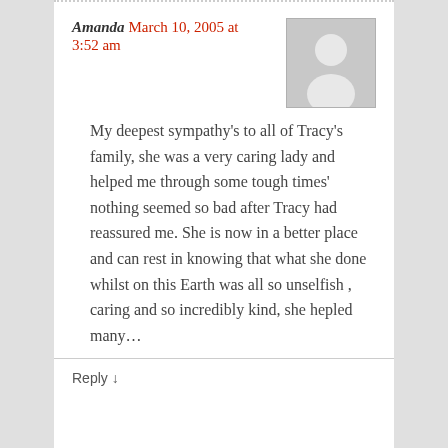Amanda March 10, 2005 at 3:52 am
[Figure (illustration): Generic grey avatar/placeholder image showing a silhouette of a person]
My deepest sympathy's to all of Tracy's family, she was a very caring lady and helped me through some tough times' nothing seemed so bad after Tracy had reassured me. She is now in a better place and can rest in knowing that what she done whilst on this Earth was all so unselfish , caring and so incredibly kind, she hepled many…
Reply ↓